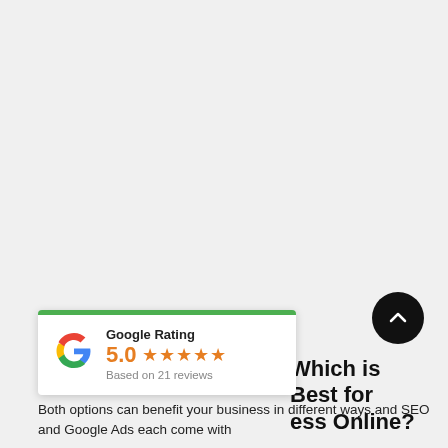[Figure (other): Google Rating widget card with green top border, Google G logo, 5.0 star rating (5 orange stars), and 'Based on 21 reviews' text]
[Figure (other): Black circular scroll-to-top button with white chevron/arrow icon pointing upward]
Which is Best for ess Online?
Both options can benefit your business in different ways and SEO and Google Ads each come with